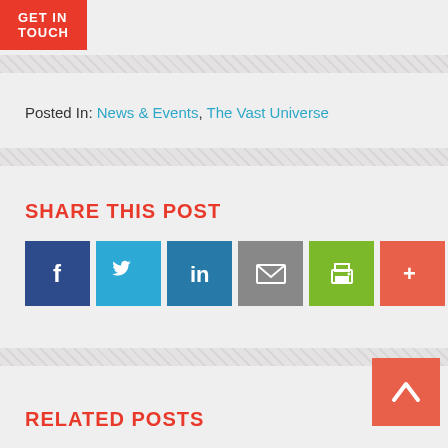GET IN TOUCH
Posted In: News & Events, The Vast Universe
SHARE THIS POST
[Figure (infographic): Social share icons: Facebook (blue), Twitter (light blue), LinkedIn (dark blue), Email (grey), Print (green), More (red/orange)]
[Figure (other): Back to top button with upward chevron arrow icon]
RELATED POSTS